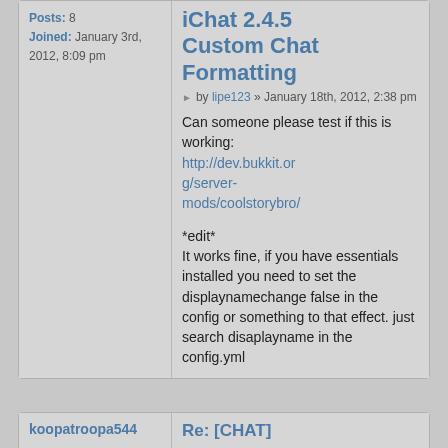Posts: 8
Joined: January 3rd, 2012, 8:09 pm
iChat 2.4.5 Custom Chat Formatting
by lipe123 » January 18th, 2012, 2:38 pm
Can someone please test if this is working:
http://dev.bukkit.org/server-mods/coolstorybro/

*edit*
It works fine, if you have essentials installed you need to set the displaynamechange false in the config or something to that effect. just search disaplayname in the config.yml
koopatroopa544
Re: [CHAT]